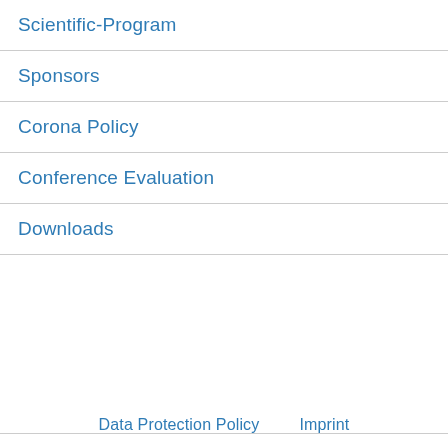Scientific-Program
Sponsors
Corona Policy
Conference Evaluation
Downloads
Data Protection Policy   Imprint